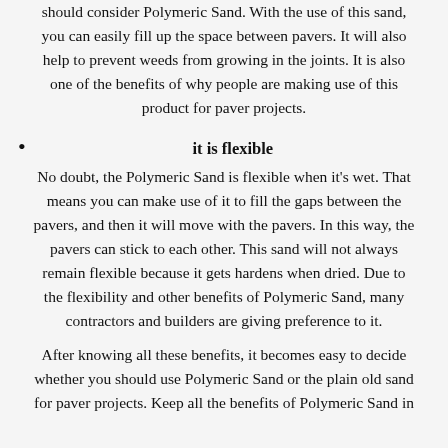should consider Polymeric Sand. With the use of this sand, you can easily fill up the space between pavers. It will also help to prevent weeds from growing in the joints. It is also one of the benefits of why people are making use of this product for paver projects.
it is flexible
No doubt, the Polymeric Sand is flexible when it’s wet. That means you can make use of it to fill the gaps between the pavers, and then it will move with the pavers. In this way, the pavers can stick to each other. This sand will not always remain flexible because it gets hardens when dried. Due to the flexibility and other benefits of Polymeric Sand, many contractors and builders are giving preference to it.
After knowing all these benefits, it becomes easy to decide whether you should use Polymeric Sand or the plain old sand for paver projects. Keep all the benefits of Polymeric Sand in